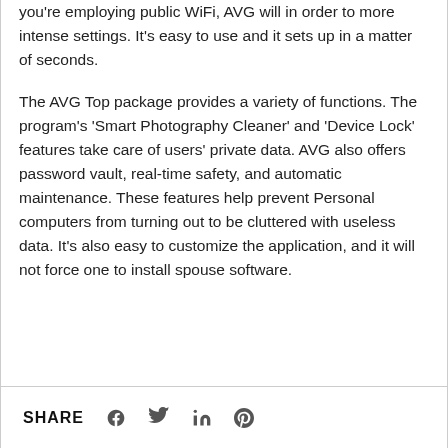you're employing public WiFi, AVG will in order to more intense settings. It's easy to use and it sets up in a matter of seconds.
The AVG Top package provides a variety of functions. The program's 'Smart Photography Cleaner' and 'Device Lock' features take care of users' private data. AVG also offers password vault, real-time safety, and automatic maintenance. These features help prevent Personal computers from turning out to be cluttered with useless data. It's also easy to customize the application, and it will not force one to install spouse software.
SHARE